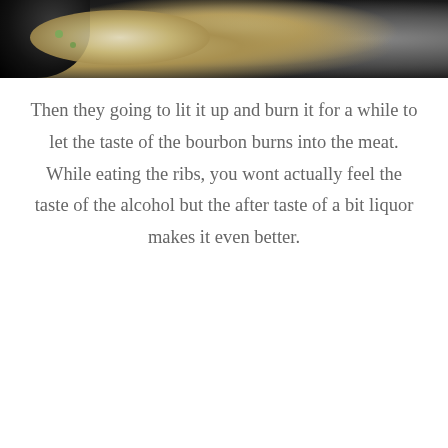[Figure (photo): Top portion of a photo showing food on a plate in a dark restaurant setting, with a dark bowl visible on the left side]
Then they going to lit it up and burn it for a while to let the taste of the bourbon burns into the meat. While eating the ribs, you wont actually feel the taste of the alcohol but the after taste of a bit liquor makes it even better.
[Figure (photo): Photo of a person (man) at a dark restaurant or bar, with a blue neon sign visible above reading text, yellow panels visible on the left, and an orange light in the background]